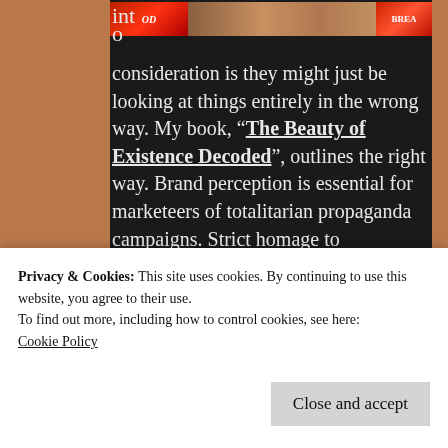[Figure (photo): Partial image strip at top showing red book covers and a person's photo]
into consideration is they might just be looking at things entirely in the wrong way. My book, "The Beauty of Existence Decoded", outlines the right way. Brand perception is essential for marketeers of totalitarian propaganda campaigns. Strict homage to materialism allows impressions to disseminate "correct thinking" towards their causes. Vagaries of wilfully dishonest and divisive interpretations of truth create the modern day dichotomy that distorts good sense into hybrid fantasy. Truth takes a back seat to totalitarian passion. Logic and
Privacy & Cookies: This site uses cookies. By continuing to use this website, you agree to their use.
To find out more, including how to control cookies, see here:
Cookie Policy
Close and accept